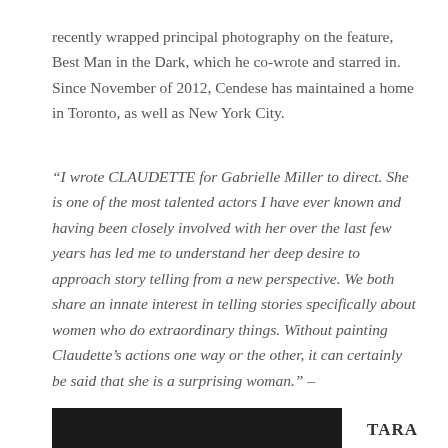recently wrapped principal photography on the feature, Best Man in the Dark, which he co-wrote and starred in. Since November of 2012, Cendese has maintained a home in Toronto, as well as New York City.
“I wrote CLAUDETTE for Gabrielle Miller to direct. She is one of the most talented actors I have ever known and having been closely involved with her over the last few years has led me to understand her deep desire to approach story telling from a new perspective. We both share an innate interest in telling stories specifically about women who do extraordinary things. Without painting Claudette’s actions one way or the other, it can certainly be said that she is a surprising woman.” – Alexander Cendese
TARA